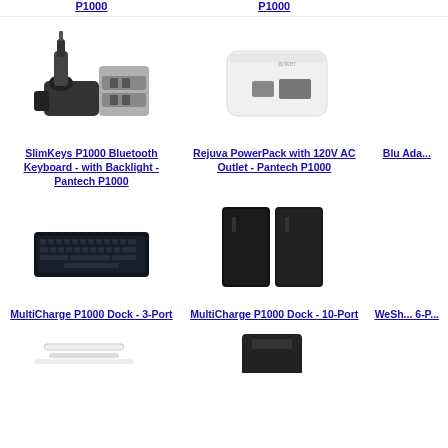P1000 (top left link)
P1000 (top center link)
[Figure (photo): Car USB charger - silver/black multi-port car charger]
[Figure (photo): White power bank / AC outlet power pack]
SlimKeys P1000 Bluetooth Keyboard - with Backlight - Pantech P1000
Rejuva PowerPack with 120V AC Outlet - Pantech P1000
Blu Adapter (partial, cut off)
[Figure (photo): Slim black Bluetooth keyboard with backlight]
[Figure (photo): Two black rectangular power bank / dock units]
MultiCharge P1000 Dock - 3-Port
MultiCharge P1000 Dock - 10-Port
WeSh... 6-P... (partial, cut off)
[Figure (photo): White cables (partial, cut off at bottom)]
[Figure (photo): Black charging dock (partial, cut off at bottom)]